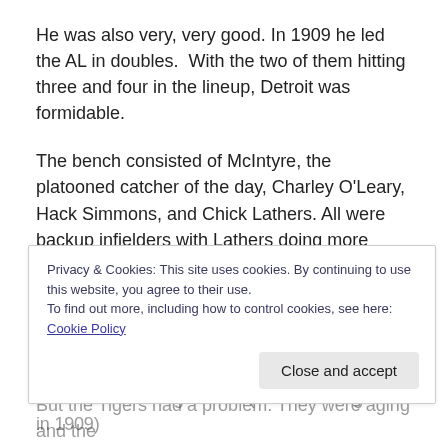He was also very, very good. In 1909 he led the AL in doubles.  With the two of them hitting three and four in the lineup, Detroit was formidable.
The bench consisted of McIntyre, the platooned catcher of the day, Charley O'Leary, Hack Simmons, and Chick Lathers. All were backup infielders with Lathers doing more pinch-hitting than either of the others.
The pitching staff saw one major change during the offseason. Sailor Stroud was a rookie. The rest of the staff consisted of George Mullin (who won 29 games in 1909)
Privacy & Cookies: This site uses cookies. By continuing to use this website, you agree to their use.
To find out more, including how to control cookies, see here: Cookie Policy
But the Tigers had a problem. They were aging and the